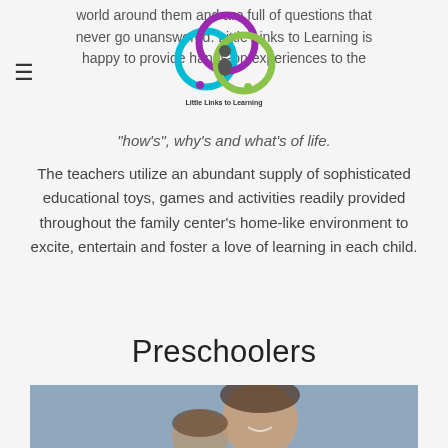world around them and are full of questions that never go unanswered. Little Links to Learning is happy to provide hands-on experiences to the
"how's", why's and what's of life.
The teachers utilize an abundant supply of sophisticated educational toys, games and activities readily provided throughout the family center's home-like environment to excite, entertain and foster a love of learning in each child.
Preschoolers
[Figure (photo): Two young girls smiling, one hugging the other from behind, outdoor blurred background]